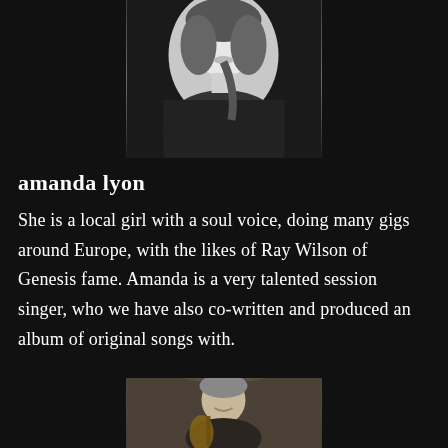[Figure (photo): Black and white portrait photo of Amanda Lyon, a woman smiling, wearing a dark top, with dark hair]
amanda lyon
She is a local girl with a soul voice, doing many gigs around Europe, with the likes of Ray Wilson of Genesis fame. Amanda is a very talented session singer, who we have also co-written and produced an album of original songs with.
[Figure (photo): Color photo of a man smiling, holding a guitar, standing in what appears to be a church or cathedral doorway]